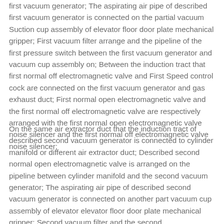first vacuum generator; The aspirating air pipe of described first vacuum generator is connected on the partial vacuum Suction cup assembly of elevator floor door plate mechanical gripper; First vacuum filter arrange and the pipeline of the first pressure switch between the first vacuum generator and vacuum cup assembly on; Between the induction tract that first normal off electromagnetic valve and First Speed control cock are connected on the first vacuum generator and gas exhaust duct; First normal open electromagnetic valve and the first normal off electromagnetic valve are respectively arranged with the first normal open electromagnetic valve noise silencer and the first normal off electromagnetic valve noise silencer;
On the same air extractor duct that the induction tract of described second vacuum generator is connected to cylinder manifold or different air extractor duct; Described second normal open electromagnetic valve is arranged on the pipeline between cylinder manifold and the second vacuum generator; The aspirating air pipe of described second vacuum generator is connected on another part vacuum cup assembly of elevator elevator floor door plate mechanical gripper; Second vacuum filter and the second pressure switch between the pipeline between the second vacuum generator and the second